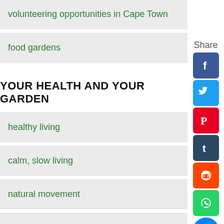volunteering opportunities in Cape Town
food gardens
YOUR HEALTH AND YOUR GARDEN
healthy living
calm, slow living
natural movement
restoring sleep
healthy food